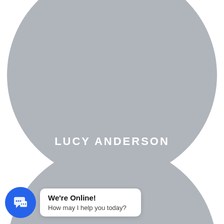[Figure (illustration): Large grey circle occupying the top portion of the page, serving as a profile photo placeholder for a team member card.]
LUCY ANDERSON
CO FOUNDER
[Figure (illustration): Four circular social media icon buttons (Facebook, Twitter, Email, LinkedIn) arranged in a row with white outlines on the grey circle background.]
[Figure (illustration): Second grey circle partially visible at the bottom of the page, representing another team member card below.]
[Figure (illustration): Live chat widget in the bottom-left corner consisting of a blue circular chat icon button and a white rounded rectangle speech bubble showing We're Online! How may I help you today?]
We're Online!
How may I help you today?